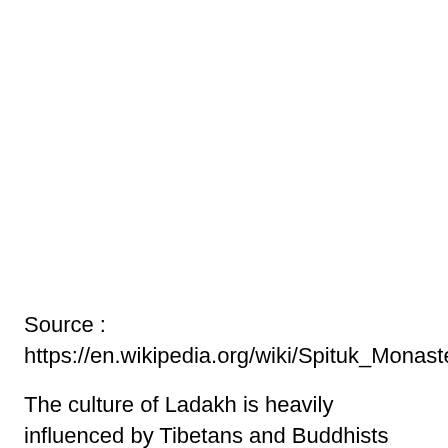Source : https://en.wikipedia.org/wiki/Spituk_Monastery
The culture of Ladakh is heavily influenced by Tibetans and Buddhists inhabiting this wonderful region. And as such, Ladakh is filled with